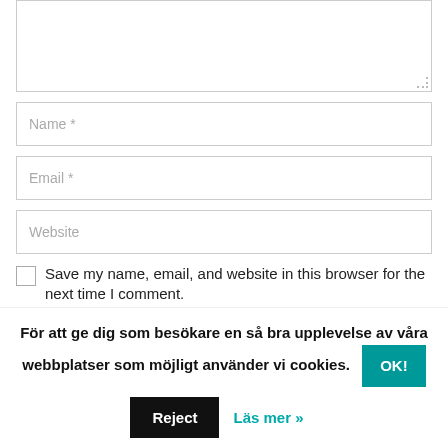[Figure (screenshot): Textarea input field (empty, resizable)]
Name *
Email *
Website
Save my name, email, and website in this browser for the next time I comment.
POST COMMENT
För att ge dig som besökare en så bra upplevelse av våra webbplatser som möjligt använder vi cookies.
Reject
Läs mer »
OK!